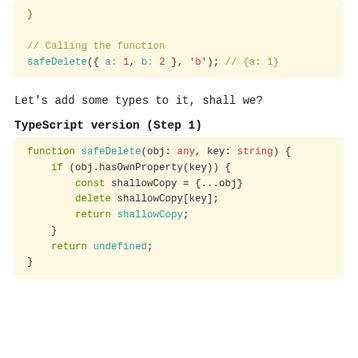[Figure (screenshot): Code block showing end of a JavaScript function: closing brace, blank line, comment '// Calling the function', and safeDelete({ a: 1, b: 2 }, 'b'); // {a: 1}]
Let's add some types to it, shall we?
TypeScript version (Step 1)
[Figure (screenshot): TypeScript code block showing function safeDelete(obj: any, key: string) with if (obj.hasOwnProperty(key)) block containing const shallowCopy = {...obj}, delete shallowCopy[key], return shallowCopy, closing brace, return undefined, and outer closing brace.]